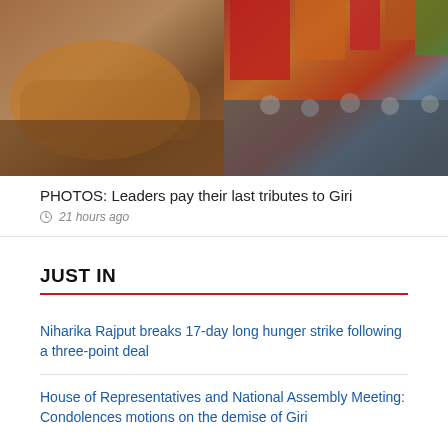[Figure (photo): Two-panel collage photo: left panel shows draped orange/saffron fabric with a body, right panel shows colorful ceremonial scene with people in crowd and military personnel]
PHOTOS: Leaders pay their last tributes to Giri
21 hours ago
JUST IN
Niharika Rajput breaks 17-day long hunger strike following a three-point deal
House of Representatives and National Assembly Meeting: Condolences motions on the demise of Giri